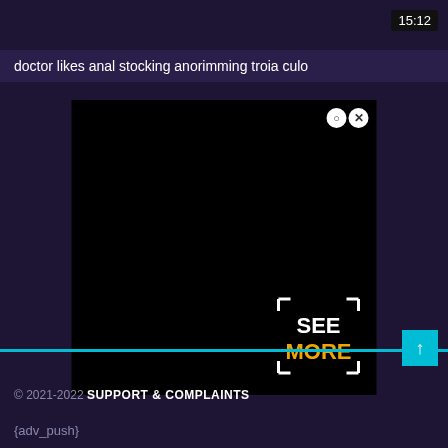15:12
doctor likes anal stocking anorimming troia culo
[Figure (screenshot): Black video player area with close/X buttons in top right and a SEE MORE overlay in bottom right corner with bracket corners]
© 2021-2022 SUPPORT & COMPLAINTS
{adv_push}